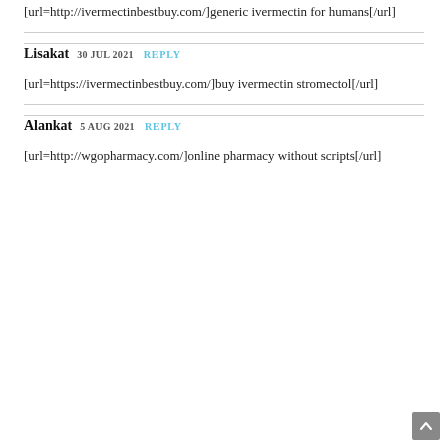[url=http://ivermectinbestbuy.com/]generic ivermectin for humans[/url]
Lisakat 30 JUL 2021 REPLY
[url=https://ivermectinbestbuy.com/]buy ivermectin stromectol[/url]
Alankat 5 AUG 2021 REPLY
[url=http://wgopharmacy.com/]online pharmacy without scripts[/url]